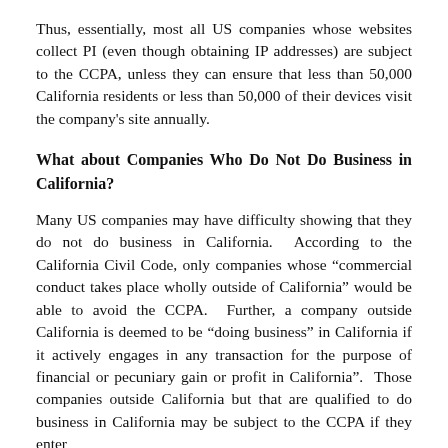Thus, essentially, most all US companies whose websites collect PI (even though obtaining IP addresses) are subject to the CCPA, unless they can ensure that less than 50,000 California residents or less than 50,000 of their devices visit the company's site annually.
What about Companies Who Do Not Do Business in California?
Many US companies may have difficulty showing that they do not do business in California. According to the California Civil Code, only companies whose “commercial conduct takes place wholly outside of California” would be able to avoid the CCPA. Further, a company outside California is deemed to be “doing business” in California if it actively engages in any transaction for the purpose of financial or pecuniary gain or profit in California”. Those companies outside California but that are qualified to do business in California may be subject to the CCPA if they enter